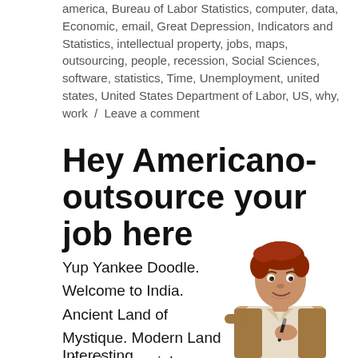america, Bureau of Labor Statistics, computer, data, Economic, email, Great Depression, Indicators and Statistics, intellectual property, jobs, maps, outsourcing, people, recession, Social Sciences, software, statistics, Time, Unemployment, united states, United States Department of Labor, US, why, work / Leave a comment
Hey Americano- outsource your job here
Yup Yankee Doodle. Welcome to India. Ancient Land of Mystique. Modern Land of taking your job.
[Figure (illustration): Comic-style illustration of a smiling man with red hair holding a pen, wearing a light shirt and vest]
Interesting...